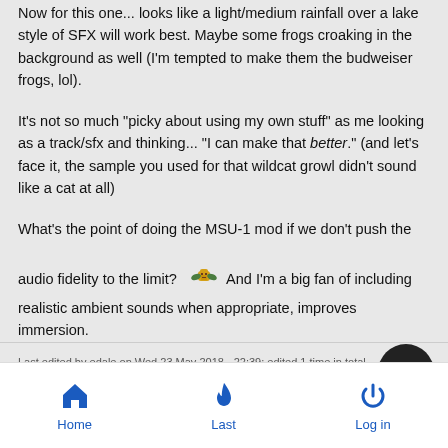Now for this one... looks like a light/medium rainfall over a lake style of SFX will work best. Maybe some frogs croaking in the background as well (I'm tempted to make them the budweiser frogs, lol).
It's not so much "picky about using my own stuff" as me looking as a track/sfx and thinking... "I can make that better." (and let's face it, the sample you used for that wildcat growl didn't sound like a cat at all)
What's the point of doing the MSU-1 mod if we don't push the audio fidelity to the limit? [emoji] And I'm a big fan of including realistic ambient sounds when appropriate, improves immersion.
Last edited by edale on Wed 23 May 2018 - 22:39; edited 1 time in total
Home  Last  Log in